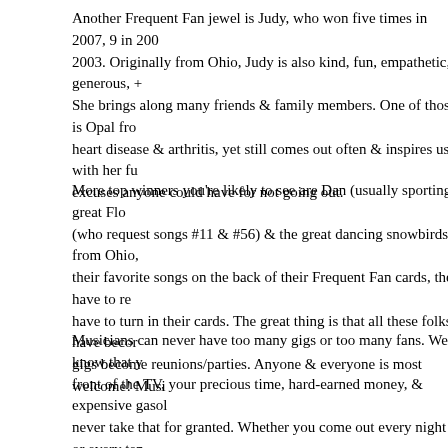Another Frequent Fan jewel is Judy, who won five times in 2007, 9 in 2006, 2003. Originally from Ohio, Judy is also kind, fun, empathetic, generous, + She brings along many friends & family members. One of those is Opal fro heart disease & arthritis, yet still comes out often & inspires us with her fu excuses anyone could have for not going out.
More top winners you're likely to see are Dan (usually sporting a great Flo (who request songs #11 & #56) & the great dancing snowbirds from Ohio, their favorite songs on the back of their Frequent Fan cards, then have to re have to turn in their cards. The great thing is that all these folks have becor gigs become reunions/parties. Anyone & everyone is most welcome! Musi
Musicians can never have too many gigs or too many fans. We know that y front of the TV, your precious time, hard-earned money, & expensive gasol never take that for granted. Whether you come out every night or every ten know YOU keep us working & music alive. Every single face in the place owners are counting!) Playing at home is fine, but sharing music with an a nothing like the high of looking into someone's eyes while playing a song a level. Every single show is a unique experience with a different ambience, Our Frequent Fans can attest to this & can tell you that you don't know wh there.